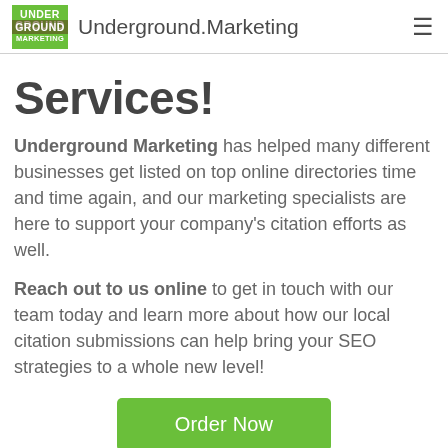Underground.Marketing
Services!
Underground Marketing has helped many different businesses get listed on top online directories time and time again, and our marketing specialists are here to support your company's citation efforts as well.
Reach out to us online to get in touch with our team today and learn more about how our local citation submissions can help bring your SEO strategies to a whole new level!
Order Now